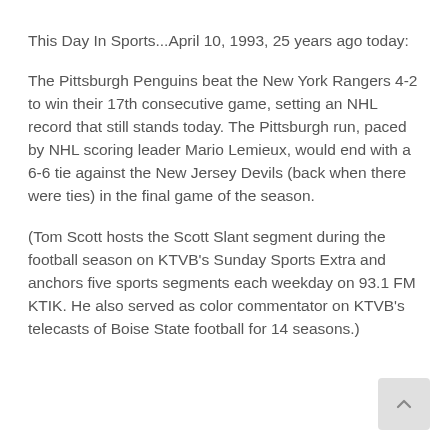This Day In Sports...April 10, 1993, 25 years ago today:
The Pittsburgh Penguins beat the New York Rangers 4-2 to win their 17th consecutive game, setting an NHL record that still stands today. The Pittsburgh run, paced by NHL scoring leader Mario Lemieux, would end with a 6-6 tie against the New Jersey Devils (back when there were ties) in the final game of the season.
(Tom Scott hosts the Scott Slant segment during the football season on KTVB's Sunday Sports Extra and anchors five sports segments each weekday on 93.1 FM KTIK. He also served as color commentator on KTVB's telecasts of Boise State football for 14 seasons.)